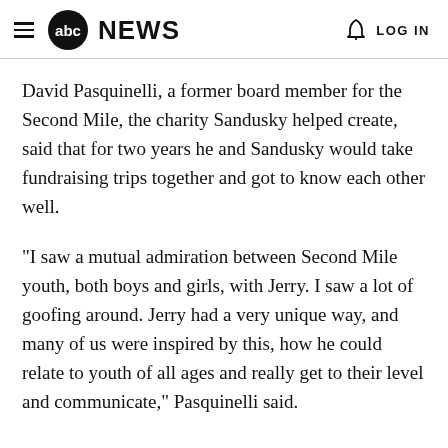abc NEWS  LOG IN
David Pasquinelli, a former board member for the Second Mile, the charity Sandusky helped create, said that for two years he and Sandusky would take fundraising trips together and got to know each other well.
"I saw a mutual admiration between Second Mile youth, both boys and girls, with Jerry. I saw a lot of goofing around. Jerry had a very unique way, and many of us were inspired by this, how he could relate to youth of all ages and really get to their level and communicate," Pasquinelli said.